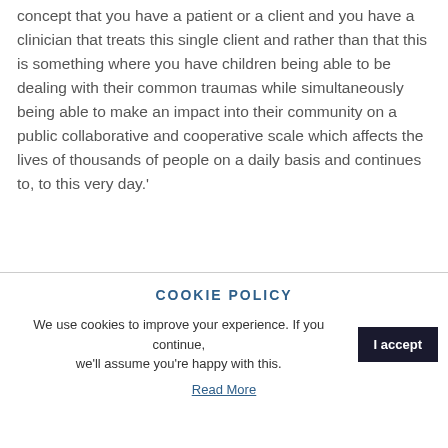concept that you have a patient or a client and you have a clinician that treats this single client and rather than that this is something where you have children being able to be dealing with their common traumas while simultaneously being able to make an impact into their community on a public collaborative and cooperative scale which affects the lives of thousands of people on a daily basis and continues to, to this very day.'
COOKIE POLICY
We use cookies to improve your experience. If you continue, we'll assume you're happy with this.
Read More